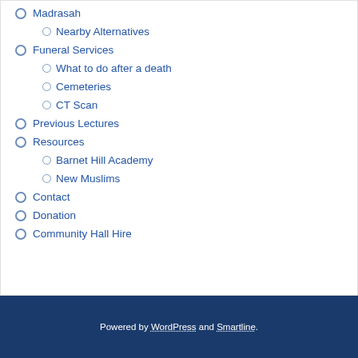Madrasah
Nearby Alternatives
Funeral Services
What to do after a death
Cemeteries
CT Scan
Previous Lectures
Resources
Barnet Hill Academy
New Muslims
Contact
Donation
Community Hall Hire
Powered by WordPress and Smartline.